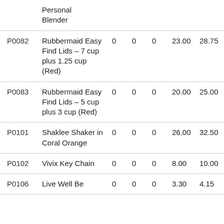| ID | Product | Col3 | Col4 | Col5 | Price1 | Price2 |
| --- | --- | --- | --- | --- | --- | --- |
|  | Personal Blender |  |  |  |  |  |
| P0082 | Rubbermaid Easy Find Lids – 7 cup plus 1.25 cup (Red) | 0 | 0 | 0 | 23.00 | 28.75 |
| P0083 | Rubbermaid Easy Find Lids – 5 cup plus 3 cup (Red) | 0 | 0 | 0 | 20.00 | 25.00 |
| P0101 | Shaklee Shaker in Coral Orange | 0 | 0 | 0 | 26.00 | 32.50 |
| P0102 | Vivix Key Chain | 0 | 0 | 0 | 8.00 | 10.00 |
| P0106 | Live Well Be | 0 | 0 | 0 | 3.30 | 4.15 |